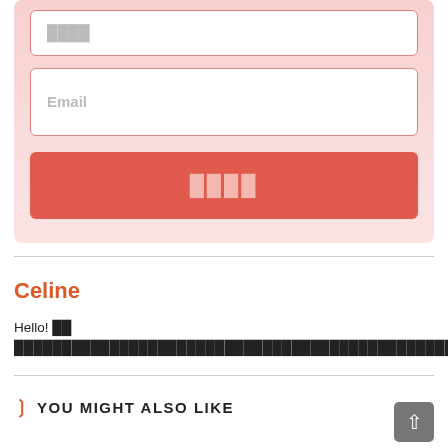[Figure (screenshot): Pink form box with a name input field (showing placeholder text in Thai/placeholder characters), an Email input field, and a red submit button with Thai/placeholder text characters]
Email
████
Celine
Hello! ██ ████████████████████████████████████████████████████████████████████♥
❯  YOU MIGHT ALSO LIKE